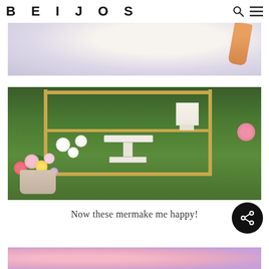BEIJOS
[Figure (photo): Partial photo showing soft blurred background with peach/tan diagonal shape on right side, light lavender and cream tones]
[Figure (photo): Outdoor party dessert table with gold bamboo-style bar cart on grass, white pedestal cake stand with colorful cupcakes, white tiered cake, and lush floral arrangements with pink, white, and yellow flowers in foreground, green garden background with pink roses]
Now these mermake me happy!
[Figure (photo): Bottom partial photo showing pink and lavender balloons or circular shapes]